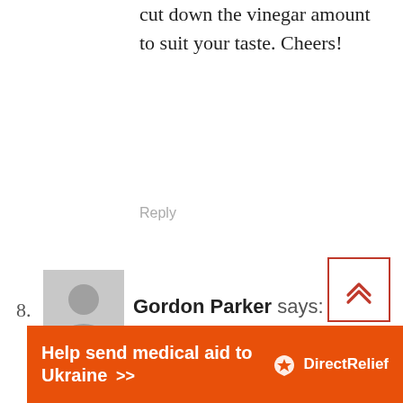cut down the vinegar amount to suit your taste. Cheers!
Reply
8. Gordon Parker says:
November 21, 2017 at 5:56 am
[Figure (illustration): Back to top button with double chevron up arrow in red border]
[Figure (illustration): Direct Relief banner - orange background with white text 'Help send medical aid to Ukraine >>' and Direct Relief logo]